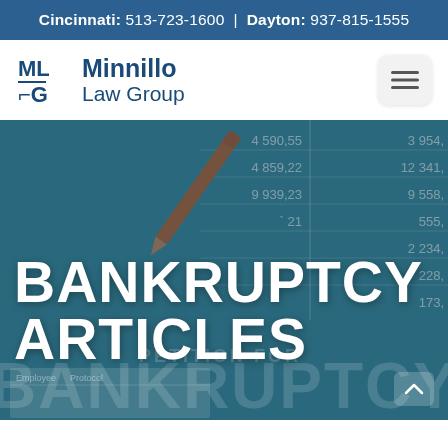Cincinnati: 513-723-1600 | Dayton: 937-815-1555
[Figure (logo): Minnillo Law Group logo with MLG monogram mark and firm name]
BANKRUPTCY ARTICLES
[Figure (photo): Hero background image of financial ledger documents with a pen/pencil, overlaid with teal color. Numbers visible: 4 590,55 | 3 954, | 4 859,22 | 12 341, | 9 939,23 | 9 558, | 21 | 555, | 2 234, | 228, | 173, with bankruptcy petition document text visible]